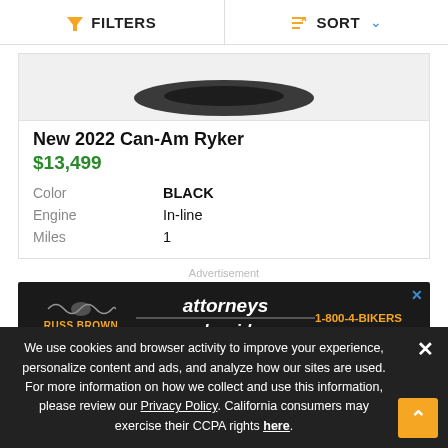FILTERS   SORT
[Figure (photo): Partial top view of a dark motorcycle/trike against a light background]
New 2022 Can-Am Ryker
$13,499
| Attribute | Value |
| --- | --- |
| Color | BLACK |
| Engine | In-line |
| Miles | 1 |
Advertisement
[Figure (screenshot): Russ Brown Motorcycle Attorneys banner ad: 'attorneys who ride 1-800-4-BIKERS']
We use cookies and browser activity to improve your experience, personalize content and ads, and analyze how our sites are used. For more information on how we collect and use this information, please review our Privacy Policy. California consumers may exercise their CCPA rights here.